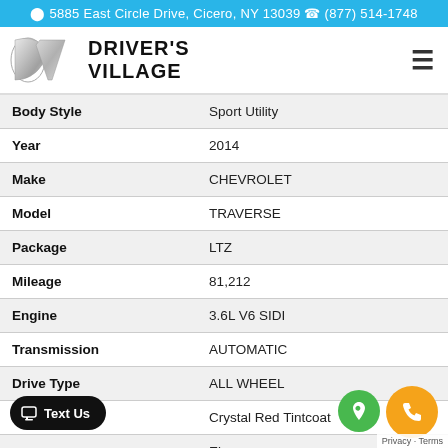📍 5885 East Circle Drive, Cicero, NY 13039  📞 (877) 514-1748
[Figure (logo): Driver's Village DV logo with silver chevron-style letters and bold black text reading DRIVER'S VILLAGE]
| Body Style | Sport Utility |
| Year | 2014 |
| Make | CHEVROLET |
| Model | TRAVERSE |
| Package | LTZ |
| Mileage | 81,212 |
| Engine | 3.6L V6 SIDI |
| Transmission | AUTOMATIC |
| Drive Type | ALL WHEEL |
| Color | Crystal Red Tintcoat |
|  | Ebony |
| VIN | 1GNKVJKDXEJ139593 |